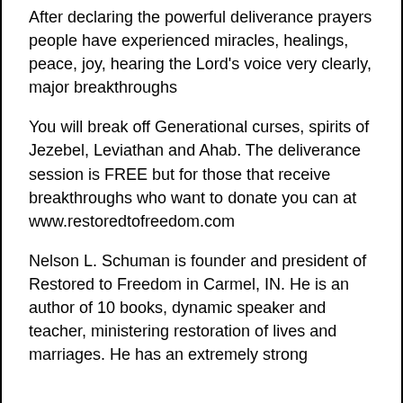After declaring the powerful deliverance prayers people have experienced miracles, healings, peace, joy, hearing the Lord's voice very clearly, major breakthroughs
You will break off Generational curses, spirits of Jezebel, Leviathan and Ahab. The deliverance session is FREE but for those that receive breakthroughs who want to donate you can at www.restoredtofreedom.com
Nelson L. Schuman is founder and president of Restored to Freedom in Carmel, IN. He is an author of 10 books, dynamic speaker and teacher, ministering restoration of lives and marriages. He has an extremely strong